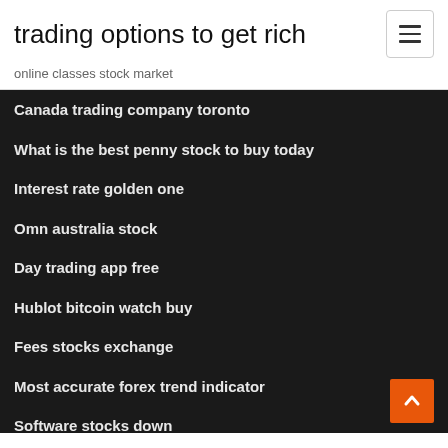trading options to get rich
online classes stock market
Canada trading company toronto
What is the best penny stock to buy today
Interest rate golden one
Omn australia stock
Day trading app free
Hublot bitcoin watch buy
Fees stocks exchange
Most accurate forex trend indicator
Software stocks down
Best way to learn futures trading